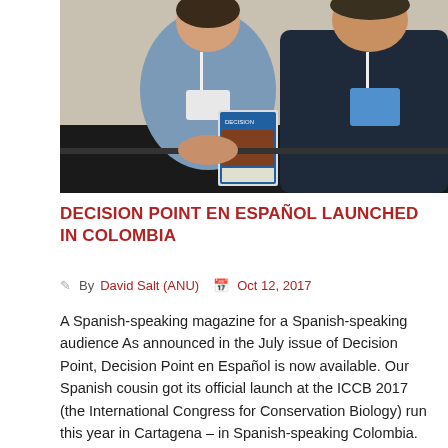[Figure (photo): Two people standing side by side at a conference, wearing lanyards with badges. The person on the left is wearing a light blue shirt and holding a 'Decision Point' magazine. The person on the right is wearing a dark navy blue shirt. Conference setting with draped tables in the background.]
DECISION POINT EN ESPAÑOL LAUNCHED IN COLOMBIA
By David Salt (ANU)   Oct 12, 2017
A Spanish-speaking magazine for a Spanish-speaking audience As announced in the July issue of Decision Point, Decision Point en Español is now available. Our Spanish cousin got its official launch at the ICCB 2017 (the International Congress for Conservation Biology) run this year in Cartagena – in Spanish-speaking Colombia. CEED researchers ran a workshop at […]